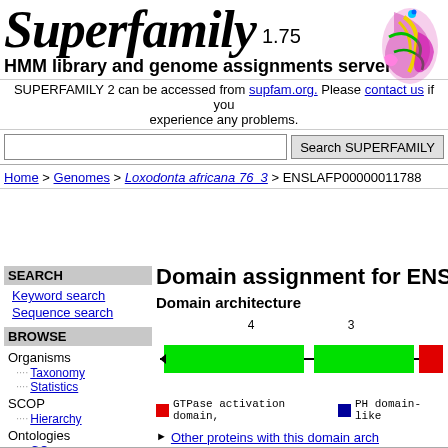Superfamily 1.75
HMM library and genome assignments server
SUPERFAMILY 2 can be accessed from supfam.org. Please contact us if you experience any problems.
Search SUPERFAMILY [search box]
Home > Genomes > Loxodonta africana 76_3 > ENSLAFP00000011788
SEARCH
Keyword search
Sequence search
BROWSE
Organisms
Taxonomy
Statistics
SCOP
Hierarchy
Ontologies
GO
Domain assignment for ENSLAFP00000011788
Domain architecture
[Figure (schematic): Domain architecture schematic showing protein sequence with numbered domain regions. Two green bars labeled 4 and 3, one red bar at right end, on a horizontal black line.]
GTPase activation domain, PH domain-like
Other proteins with this domain architecture
Other domain architectures with similar
See the phylogenetic distribution for